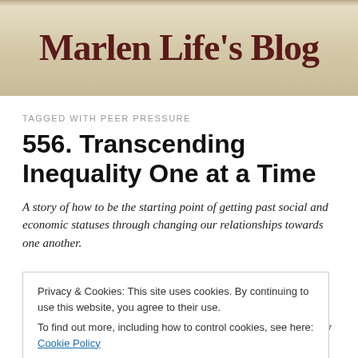[Figure (other): Blog header banner with text 'Marlen Life's Blog' in handwritten/cursive dark red font on a beige/tan background]
TAGGED WITH PEER PRESSURE
556. Transcending Inequality One at a Time
A story of how to be the starting point of getting past social and economic statuses through changing our relationships towards one another.
Privacy & Cookies: This site uses cookies. By continuing to use this website, you agree to their use.
To find out more, including how to control cookies, see here: Cookie Policy
[Close and accept]
has permeated into the nature of commerce itself, in how we